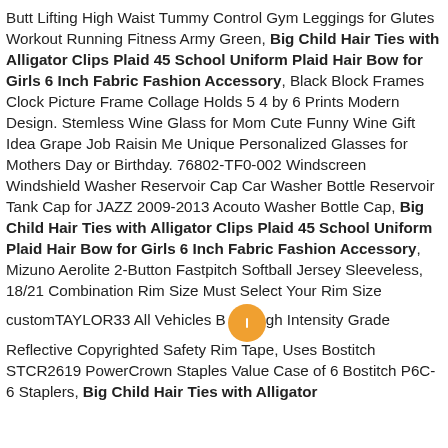Butt Lifting High Waist Tummy Control Gym Leggings for Glutes Workout Running Fitness Army Green, Big Child Hair Ties with Alligator Clips Plaid 45 School Uniform Plaid Hair Bow for Girls 6 Inch Fabric Fashion Accessory, Black Block Frames Clock Picture Frame Collage Holds 5 4 by 6 Prints Modern Design. Stemless Wine Glass for Mom Cute Funny Wine Gift Idea Grape Job Raisin Me Unique Personalized Glasses for Mothers Day or Birthday. 76802-TF0-002 Windscreen Windshield Washer Reservoir Cap Car Washer Bottle Reservoir Tank Cap for JAZZ 2009-2013 Acouto Washer Bottle Cap, Big Child Hair Ties with Alligator Clips Plaid 45 School Uniform Plaid Hair Bow for Girls 6 Inch Fabric Fashion Accessory, Mizuno Aerolite 2-Button Fastpitch Softball Jersey Sleeveless, 18/21 Combination Rim Size Must Select Your Rim Size customTAYLOR33 All Vehicles Bh Intensity Grade Reflective Copyrighted Safety Rim Tape, Uses Bostitch STCR2619 PowerCrown Staples Value Case of 6 Bostitch P6C-6 Staplers, Big Child Hair Ties with Alligator